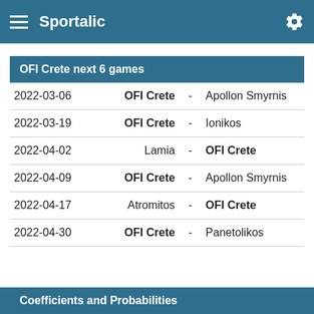Sportalic
OFI Crete next 6 games
| Date | Home |  | Away |
| --- | --- | --- | --- |
| 2022-03-06 | OFI Crete | - | Apollon Smyrnis |
| 2022-03-19 | OFI Crete | - | Ionikos |
| 2022-04-02 | Lamia | - | OFI Crete |
| 2022-04-09 | OFI Crete | - | Apollon Smyrnis |
| 2022-04-17 | Atromitos | - | OFI Crete |
| 2022-04-30 | OFI Crete | - | Panetolikos |
Coefficients and Probabilities